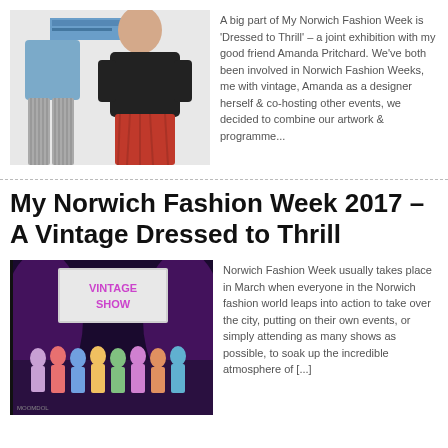[Figure (photo): Two people standing against a white wall with a blue poster. Left person wearing blue shirt and grey striped trousers, right person wearing black sweater and red patterned skirt.]
A big part of My Norwich Fashion Week is 'Dressed to Thrill' – a joint exhibition with my good friend Amanda Pritchard.  We've both been involved in Norwich Fashion Weeks, me with vintage, Amanda as a designer herself & co-hosting other events, we decided to combine our artwork & programme...
My Norwich Fashion Week 2017 – A Vintage Dressed to Thrill
[Figure (photo): Group photo of people on stage at a Vintage Show event with purple lighting and a large screen displaying 'VINTAGE SHOW' text.]
Norwich Fashion Week usually takes place in March when everyone in the Norwich fashion world leaps into action to take over the city, putting on their own events, or simply attending as many shows as possible, to soak up the incredible atmosphere of [...]